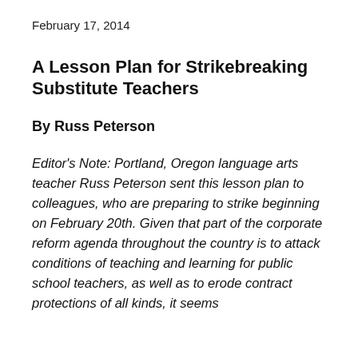February 17, 2014
A Lesson Plan for Strikebreaking Substitute Teachers
By Russ Peterson
Editor's Note: Portland, Oregon language arts teacher Russ Peterson sent this lesson plan to colleagues, who are preparing to strike beginning on February 20th. Given that part of the corporate reform agenda throughout the country is to attack conditions of teaching and learning for public school teachers, as well as to erode contract protections of all kinds, it seems